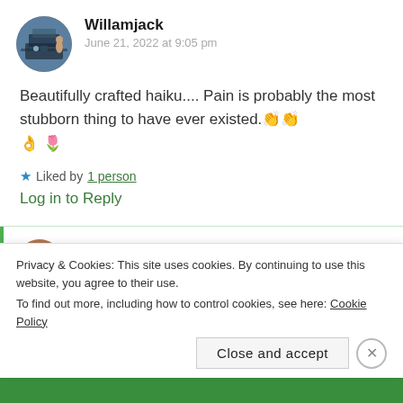Willamjack
June 21, 2022 at 9:05 pm
Beautifully crafted haiku.... Pain is probably the most stubborn thing to have ever existed. 👏👏 👌🌷
Liked by 1 person
Log in to Reply
yassy
Privacy & Cookies: This site uses cookies. By continuing to use this website, you agree to their use. To find out more, including how to control cookies, see here: Cookie Policy
Close and accept